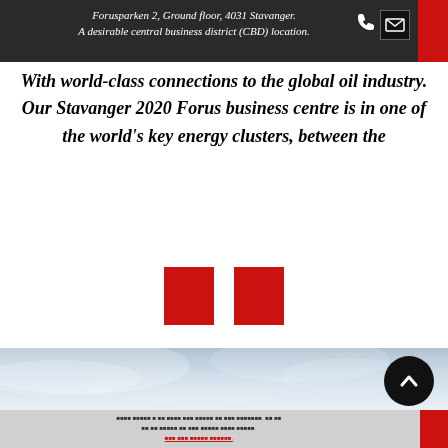Forusparken 2, Ground floor, 4031 Stavanger. A desirable central business district (CBD) location.
With world-class connections to the global oil industry. Our Stavanger 2020 Forus business centre is in one of the world's key energy clusters, between the
[Figure (other): Two red squares side by side]
[Figure (photo): Sky with clouds photo strip with a black circular up-arrow button on the right]
Footer text in small font with red underlined link at bottom